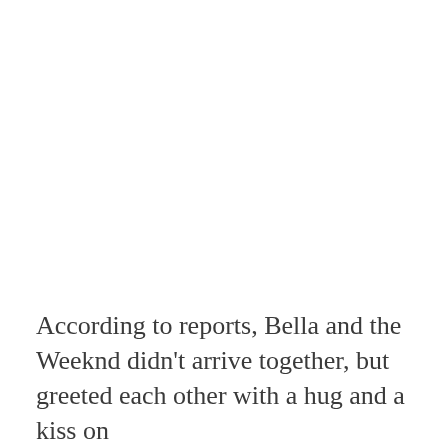According to reports, Bella and the Weeknd didn't arrive together, but greeted each other with a hug and a kiss on